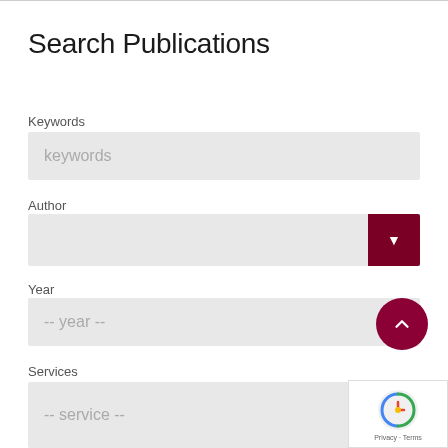Search Publications
Keywords
keywords
Author
Year
-- year --
Services
-- service --